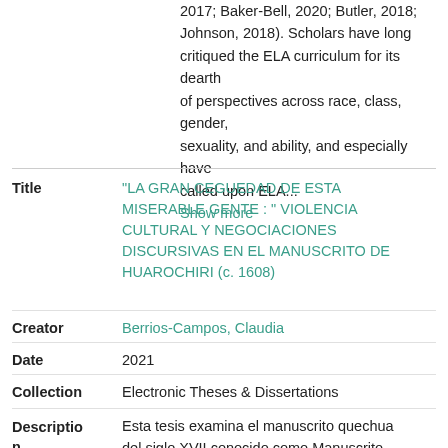2017; Baker-Bell, 2020; Butler, 2018; Johnson, 2018). Scholars have long critiqued the ELA curriculum for its dearth of perspectives across race, class, gender, sexuality, and ability, and especially have called upon ELA... Show more
| Field | Value |
| --- | --- |
| Title | "LA GRAN CEGUEDAD DE ESTA MISERABLE GENTE : " VIOLENCIA CULTURAL Y NEGOCIACIONES DISCURSIVAS EN EL MANUSCRITO DE HUAROCHIRI (c. 1608) |
| Creator | Berrios-Campos, Claudia |
| Date | 2021 |
| Collection | Electronic Theses & Dissertations |
| Description | Esta tesis examina el manuscrito quechua del siglo XVII conocido como Manuscrito |